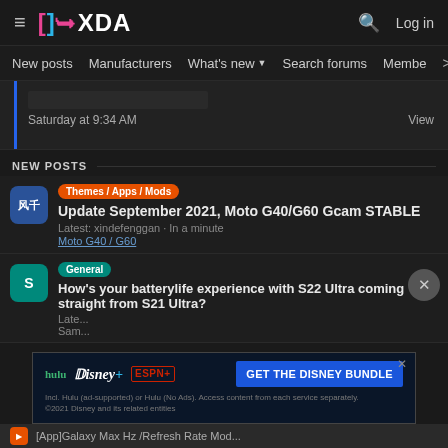XDA Forums header with logo, search, log in
New posts | Manufacturers | What's new | Search forums | Members >
Saturday at 9:34 AM  View
NEW POSTS
Themes / Apps / Mods  Update September 2021, Moto G40/G60 Gcam STABLE
Latest: xindefenggan · In a minute
Moto G40 / G60
General  How's your batterylife experience with S22 Ultra coming straight from S21 Ultra?
[Figure (screenshot): Hulu Disney+ ESPN+ GET THE DISNEY BUNDLE advertisement banner. Incl. Hulu (ad-supported) or Hulu (No Ads). Access content from each service separately. ©2021 Disney and its related entities]
[App]Galaxy Max Hz /Refresh Rate Mod...